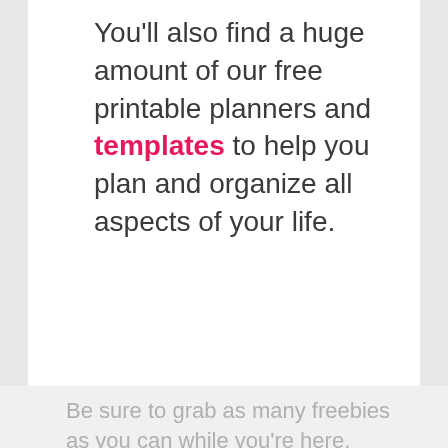You'll also find a huge amount of our free printable planners and templates to help you plan and organize all aspects of your life.
Be sure to grab as many freebies as you can while you're here.